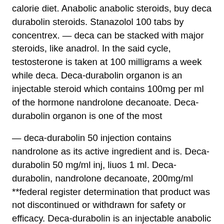calorie diet. Anabolic anabolic steroids, buy deca durabolin steroids. Stanazolol 100 tabs by concentrex. — deca can be stacked with major steroids, like anadrol. In the said cycle, testosterone is taken at 100 milligrams a week while deca. Deca-durabolin organon is an injectable steroid which contains 100mg per ml of the hormone nandrolone decanoate. Deca-durabolin organon is one of the most
— deca-durabolin 50 injection contains nandrolone as its active ingredient and is. Deca-durabolin 50 mg/ml inj, liuos 1 ml. Deca-durabolin, nandrolone decanoate, 200mg/ml **federal register determination that product was not discontinued or withdrawn for safety or efficacy. Deca-durabolin is an injectable anabolic preparation. The pharmacologically active substance is nandrolone. The decanoate ester gives the preparation a duration
Leave a Reply